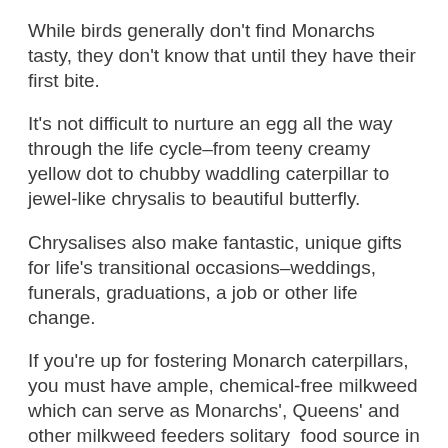While birds generally don't find Monarchs tasty, they don't know that until they have their first bite.
It's not difficult to nurture an egg all the way through the life cycle–from teeny creamy yellow dot to chubby waddling caterpillar to jewel-like chrysalis to beautiful butterfly.
Chrysalises also make fantastic, unique gifts for life's transitional occasions–weddings, funerals, graduations, a job or other life change.
If you're up for fostering Monarch caterpillars, you must have ample, chemical-free milkweed which can serve as Monarchs', Queens' and other milkweed feeders solitary  food source in the caterpillar stage.
Any type of Asclepias species will do.  As much as I like native plants, I'm a big fan of Tropical milkweed Asclepias curassavica for at the...